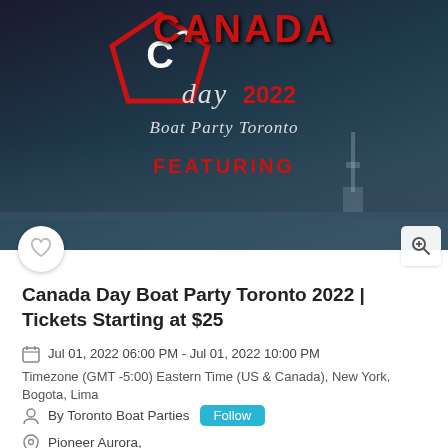[Figure (photo): Canada Day Boat Party Toronto 2022 event banner with red logo, stylized 'Canada day 2022' text, 'Boat Party Toronto' subtitle, and 'FEATURING' text. Dark city skyline backdrop with water.]
Canada Day Boat Party Toronto 2022 | Tickets Starting at $25
Jul 01, 2022 06:00 PM - Jul 01, 2022 10:00 PM
Timezone (GMT -5:00) Eastern Time (US & Canada), New York, Bogota, Lima
By Toronto Boat Parties
Pioneer Aurora, 333, Lake Shore Boulevard East, Toronto, Ontario, Canada
Share With Friends